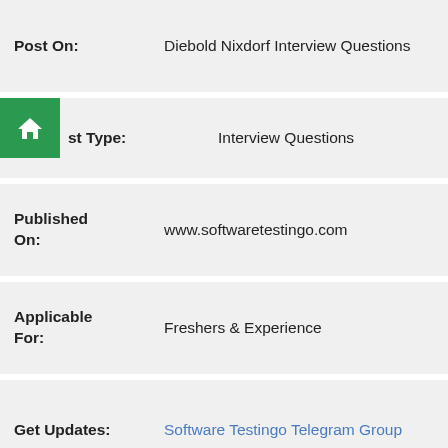| Field | Value |
| --- | --- |
| Post On: | Diebold Nixdorf Interview Questions |
| Post Type: | Interview Questions |
| Published On: | www.softwaretestingo.com |
| Applicable For: | Freshers & Experience |
| Get Updates: | Software Testingo Telegram Group |
We have tried to share some of the manual